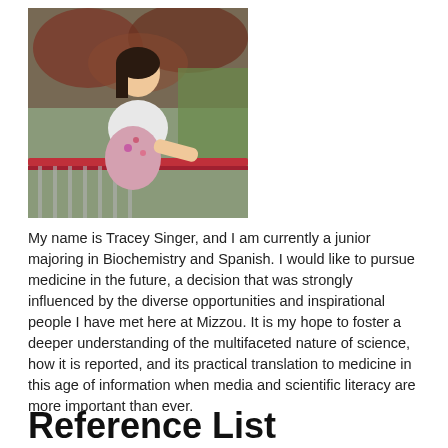[Figure (photo): Outdoor photo of Tracey Singer, a young woman in a floral dress and white top, leaning on a red railing with trees in the background]
My name is Tracey Singer, and I am currently a junior majoring in Biochemistry and Spanish. I would like to pursue medicine in the future, a decision that was strongly influenced by the diverse opportunities and inspirational people I have met here at Mizzou. It is my hope to foster a deeper understanding of the multifaceted nature of science, how it is reported, and its practical translation to medicine in this age of information when media and scientific literacy are more important than ever.
Reference List